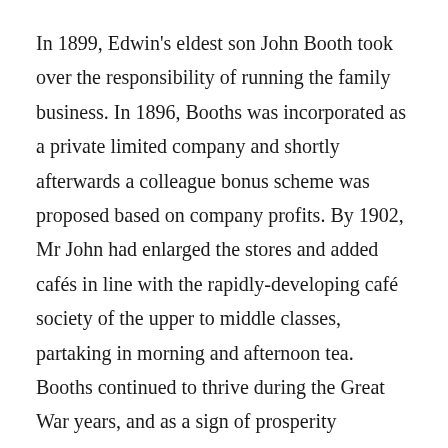In 1899, Edwin's eldest son John Booth took over the responsibility of running the family business. In 1896, Booths was incorporated as a private limited company and shortly afterwards a colleague bonus scheme was proposed based on company profits. By 1902, Mr John had enlarged the stores and added cafés in line with the rapidly-developing café society of the upper to middle classes, partaking in morning and afternoon tea.
Booths continued to thrive during the Great War years, and as a sign of prosperity colleagues were invited to become shareholders in 1920, a somewhat novel concept for the times. The ensuing inter-war years saw one of the fastest